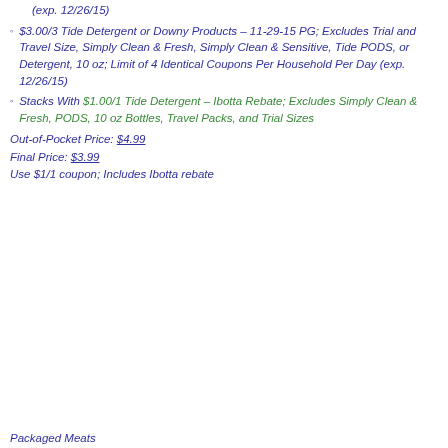(exp. 12/26/15)
$3.00/3 Tide Detergent or Downy Products – 11-29-15 PG; Excludes Trial and Travel Size, Simply Clean & Fresh, Simply Clean & Sensitive, Tide PODS, or Detergent, 10 oz; Limit of 4 Identical Coupons Per Household Per Day (exp. 12/26/15)
Stacks With $1.00/1 Tide Detergent – Ibotta Rebate; Excludes Simply Clean & Fresh, PODS, 10 oz Bottles, Travel Packs, and Trial Sizes
Out-of-Pocket Price: $4.99
Final Price: $3.99
Use $1/1 coupon; Includes Ibotta rebate
Packaged Meats